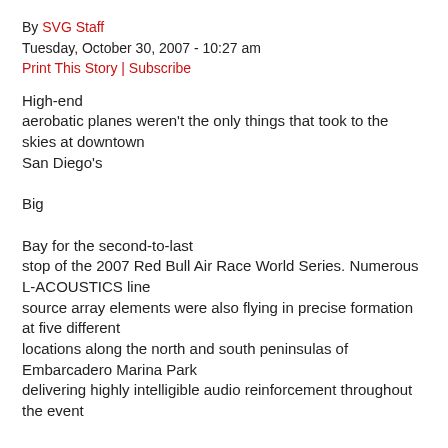By SVG Staff
Tuesday, October 30, 2007 - 10:27 am
Print This Story | Subscribe
High-end aerobatic planes weren't the only things that took to the skies at downtown San Diego's Big Bay for the second-to-last stop of the 2007 Red Bull Air Race World Series. Numerous L-ACOUSTICS line source array elements were also flying in precise formation at five different locations along the north and south peninsulas of Embarcadero Marina Park delivering highly intelligible audio reinforcement throughout the event